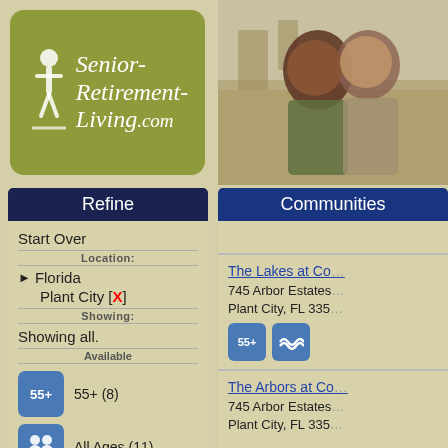[Figure (logo): Senior-Retirement-Living.com logo with olive/green background and stylized figure icon]
[Figure (photo): Photo of smiling older couple, man and woman, outdoors]
Refine
Start Over
Location:
Florida
Plant City [X]
Showing:
Showing all.
Available
55+ (8)
All Ages (11)
Golf Nearby
Communities
The Lakes at Co...
745 Arbor Estates...
Plant City, FL 335...
The Arbors at Co...
745 Arbor Estates...
Plant City, FL 335...